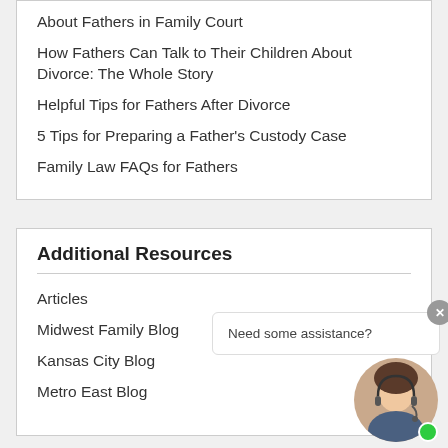About Fathers in Family Court
How Fathers Can Talk to Their Children About Divorce: The Whole Story
Helpful Tips for Fathers After Divorce
5 Tips for Preparing a Father's Custody Case
Family Law FAQs for Fathers
Additional Resources
Articles
Midwest Family Blog
Kansas City Blog
Metro East Blog